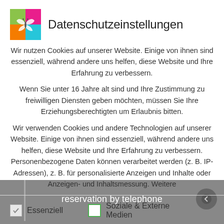Datenschutzeinstellungen
Wir nutzen Cookies auf unserer Website. Einige von ihnen sind essenziell, während andere uns helfen, diese Website und Ihre Erfahrung zu verbessern.
Wenn Sie unter 16 Jahre alt sind und Ihre Zustimmung zu freiwilligen Diensten geben möchten, müssen Sie Ihre Erziehungsberechtigten um Erlaubnis bitten.
Wir verwenden Cookies und andere Technologien auf unserer Website. Einige von ihnen sind essenziell, während andere uns helfen, diese Website und Ihre Erfahrung zu verbessern. Personenbezogene Daten können verarbeitet werden (z. B. IP-Adressen), z. B. für personalisierte Anzeigen und Inhalte oder Anzeigen- und Inhaltsmessung. Weitere
✓ Essenziell
☐ Soziale & Externe Medien
reservation by telephone